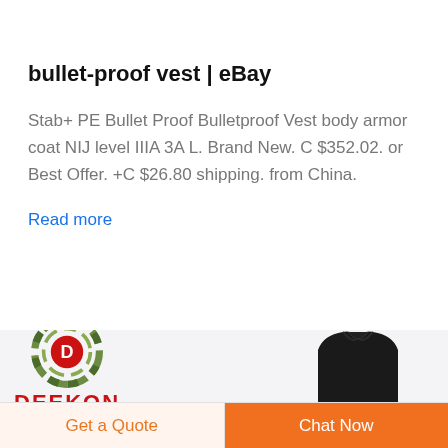bullet-proof vest | eBay
Stab+ PE Bullet Proof Bulletproof Vest body armor coat NIJ level IIIA 3A L. Brand New. C $352.02. or Best Offer. +C $26.80 shipping. from China.
Read more
[Figure (logo): DEEKON logo with circular target/crosshair graphic in green camouflage and red D letter, with DEEKON text in red below]
[Figure (photo): Black bulletproof vest/body armor shown partially]
Get a Quote
Chat Now